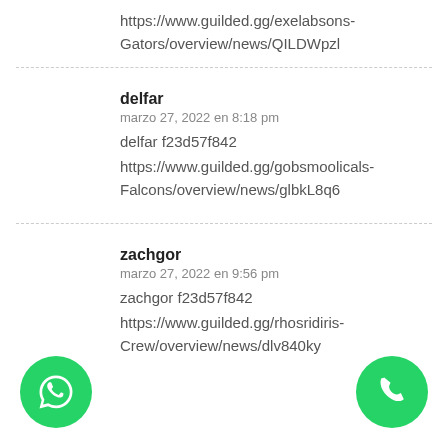https://www.guilded.gg/exelabsons-Gators/overview/news/QILDWpzl
delfar
marzo 27, 2022 en 8:18 pm
delfar f23d57f842
https://www.guilded.gg/gobsmoolicals-Falcons/overview/news/glbkL8q6
zachgor
marzo 27, 2022 en 9:56 pm
zachgor f23d57f842
https://www.guilded.gg/rhosridiris-Crew/overview/news/dlv840ky